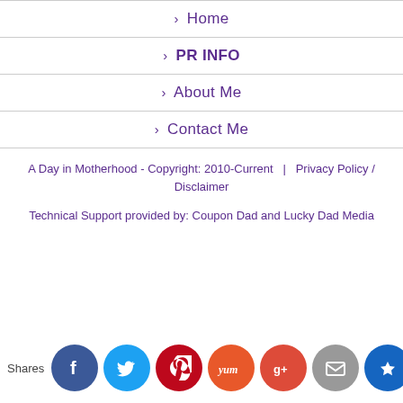> Home
> PR INFO
> About Me
> Contact Me
A Day in Motherhood - Copyright: 2010-Current | Privacy Policy / Disclaimer
Technical Support provided by: Coupon Dad and Lucky Dad Media
[Figure (infographic): Social share icons row: Facebook, Twitter, Pinterest, Yummly, Google+, Email, Crown/bookmark. Shares label on left.]